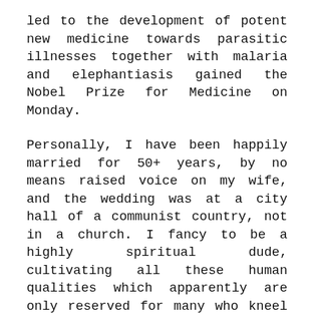led to the development of potent new medicine towards parasitic illnesses together with malaria and elephantiasis gained the Nobel Prize for Medicine on Monday.
Personally, I have been happily married for 50+ years, by no means raised voice on my wife, and the wedding was at a city hall of a communist country, not in a church. I fancy to be a highly spiritual dude, cultivating all these human qualities which apparently are only reserved for many who kneel and consider. In 2007, evolutionary psychologist Geoffrey Miller, together with Joshua Tybur and Brent Jordan, discovered that lap dancers made more cash when they're at the peak of their fertility interval. Their discovery was made public in an